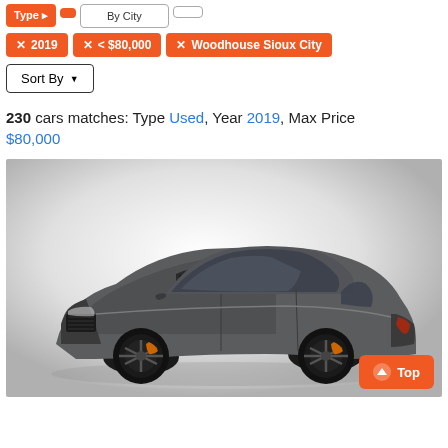✕ 2019
✕ < $80,000
✕ Woodhouse Sioux City
Sort By ▾
230 cars matches: Type Used, Year 2019, Max Price $80,000
[Figure (photo): Gray Dodge Charger SRT on a white/gradient background, front three-quarter view, with dark alloy wheels and orange brake calipers.]